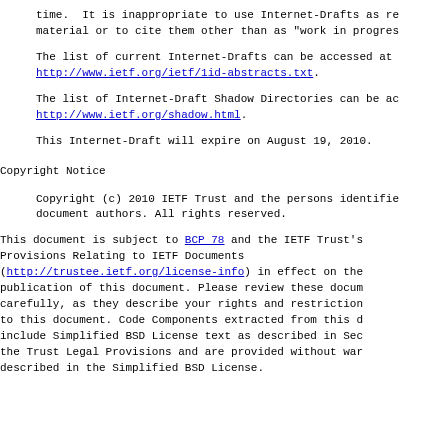time.  It is inappropriate to use Internet-Drafts as re material or to cite them other than as "work in progres
The list of current Internet-Drafts can be accessed at http://www.ietf.org/ietf/1id-abstracts.txt.
The list of Internet-Draft Shadow Directories can be ac http://www.ietf.org/shadow.html.
This Internet-Draft will expire on August 19, 2010.
Copyright Notice
Copyright (c) 2010 IETF Trust and the persons identifie document authors. All rights reserved.
This document is subject to BCP 78 and the IETF Trust's Provisions Relating to IETF Documents (http://trustee.ietf.org/license-info) in effect on the publication of this document. Please review these docum carefully, as they describe your rights and restriction to this document. Code Components extracted from this d include Simplified BSD License text as described in Sec the Trust Legal Provisions and are provided without war described in the Simplified BSD License.